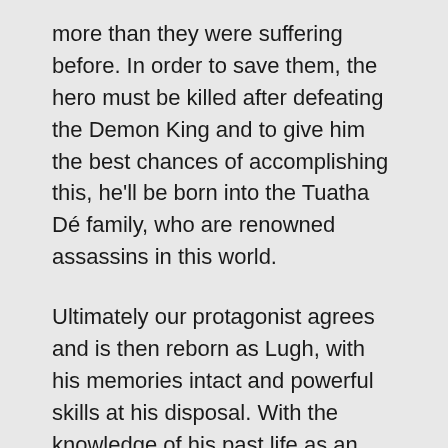more than they were suffering before. In order to save them, the hero must be killed after defeating the Demon King and to give him the best chances of accomplishing this, he'll be born into the Tuatha Dé family, who are renowned assassins in this world.
Ultimately our protagonist agrees and is then reborn as Lugh, with his memories intact and powerful skills at his disposal. With the knowledge of his past life as an assassin and the teachings of his new family, Lugh becomes an almost unstoppable force – but will it be enough to accomplish the mission